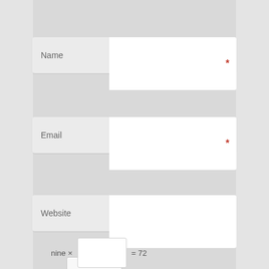Name *
Email *
Website
Comment